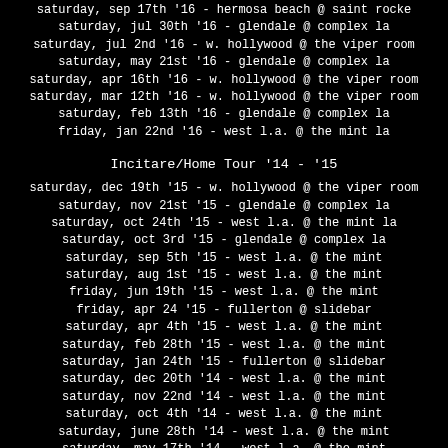saturday, sep 17th '16 - hermosa beach @ saint rocke
saturday, jul 30th '16 - glendale @ complex la
saturday, jul 2nd '16 - w. hollywood @ the viper room
saturday, may 21st '16 - glendale @ complex la
saturday, apr 16th '16 - w. hollywood @ the viper room
saturday, mar 12th '16 - w. hollywood @ the viper room
saturday, feb 13th '16 - glendale @ complex la
friday, jan 22nd '16 - west l.a. @ the mint la
Incitare/Home Tour '14 - '15
saturday, dec 19th '15 - w. hollywood @ the viper room
saturday, nov 21st '15 - glendale @ complex la
saturday, oct 24th '15 - west l.a. @ the mint la
saturday, oct 3rd '15 - glendale @ complex la
saturday, sep 5th '15 - west l.a. @ the mint
saturday, aug 1st '15 - west l.a. @ the mint
friday, jun 19th '15 - west l.a. @ the mint
friday, apr 24 '15 - fullerton @ slidebar
saturday, apr 4th '15 - west l.a. @ the mint
saturday, feb 28th '15 - west l.a. @ the mint
saturday, jan 24th '15 - fullerton @ slidebar
saturday, dec 20th '14 - west l.a. @ the mint
saturday, nov 22nd '14 - west l.a. @ the mint
saturday, oct 4th '14 - west l.a. @ the mint
saturday, june 28th '14 - west l.a. @ the mint
saturday, may 17th '14 - west l.a. @ the mint
saturday, apr 19th '14 - west l.a. @ the mint
saturday, feb 22nd '14 - west l.a. @ the mint
"Incitare Tour" summer '13